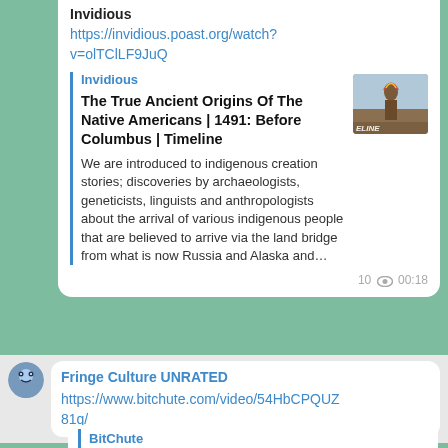Invidious
https://invidious.poast.org/watch?v=olTClLF9JuQ
Invidious
The True Ancient Origins Of The Native Americans | 1491: Before Columbus | Timeline
We are introduced to indigenous creation stories; discoveries by archaeologists, geneticists, linguists and anthropologists about the arrival of various indigenous people that are believed to arrive via the land bridge from what is now Russia and Alaska and…
10 👁 00:18
Fringe Culture UNRATED
https://www.bitchute.com/video/54HbCPQUZ81q/
BitChute
[Figure (screenshot): Screenshot of a BitChute video showing a woman in costume with text ORYLAN IS LILITA on a green sign, and a social media post on the right side]